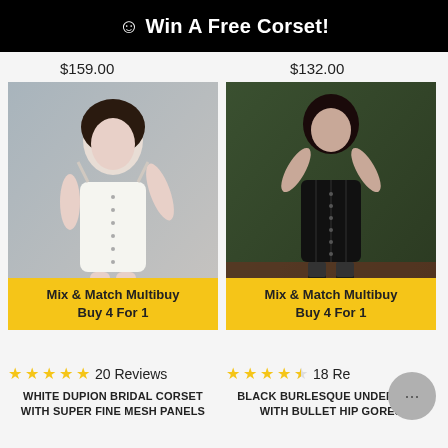☺ Win A Free Corset!
$159.00   $132.00
[Figure (photo): Model wearing white dupion bridal corset with super fine mesh panels, light grey background]
Mix & Match Multibuy
Buy 4 For 1
[Figure (photo): Model wearing black burlesque underbust corset with bullet hip gores, green room background]
Mix & Match Multibuy
Buy 4 For 1
★★★★★ 20 Reviews
WHITE DUPION BRIDAL CORSET
WITH SUPER FINE MESH PANELS
★★★★½ 18 Re...
BLACK BURLESQUE UNDERBUST
WITH BULLET HIP GORES